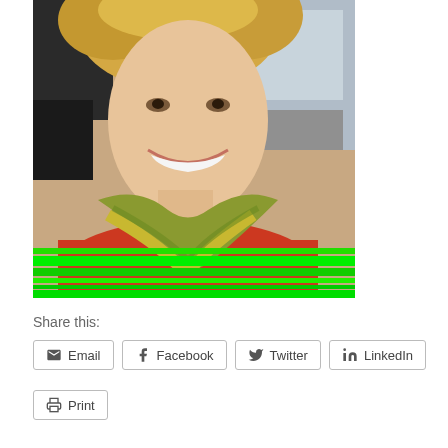[Figure (photo): A smiling woman with curly blonde hair, wearing a red top and a green/yellow patterned scarf. There is a bright green horizontal artifact/stripe at the bottom of the photo. Office or indoor background visible.]
Share this:
Email  Facebook  Twitter  LinkedIn  Print